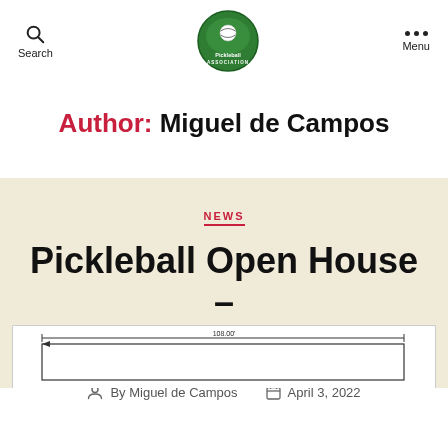Search | Pickleball Association | Menu
Author: Miguel de Campos
NEWS
Pickleball Open House – Summary
By Miguel de Campos   April 3, 2022
[Figure (engineering-diagram): Partial view of a pickleball court technical diagram showing dimensions, with a measurement of 108.00' indicated.]